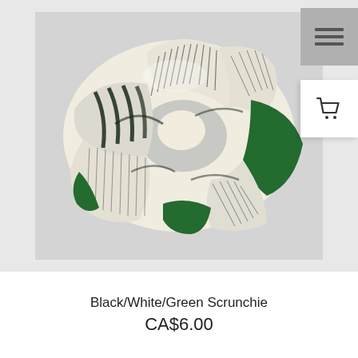[Figure (photo): A white, black and green fabric scrunchie hair tie photographed on a light grey/white background. The scrunchie features striped and solid patterns in black, white and green colors.]
Black/White/Green Scrunchie
CA$6.00